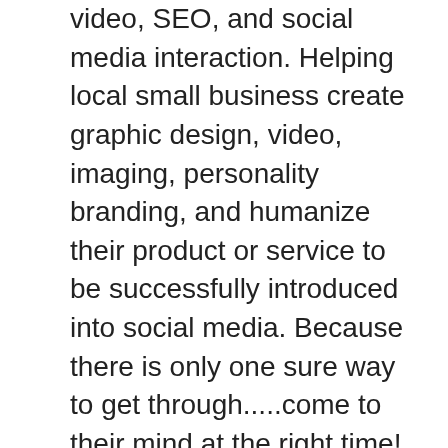video, SEO, and social media interaction. Helping local small business create graphic design, video, imaging, personality branding, and humanize their product or service to be successfully introduced into social media. Because there is only one sure way to get through.....come to their mind at the right time! Jingles make people remember, absent of tangible marketing in view. Humanizing makes you more like a 'buddy' and people always refer their friends first, if they have a specialty they think would help the situation. Social media, video, branding and theme songs, all online, accomplishes all of this. People shop on the web, they hangout on the web, they get references for products or companies and talk to their friends about them first, many times before any